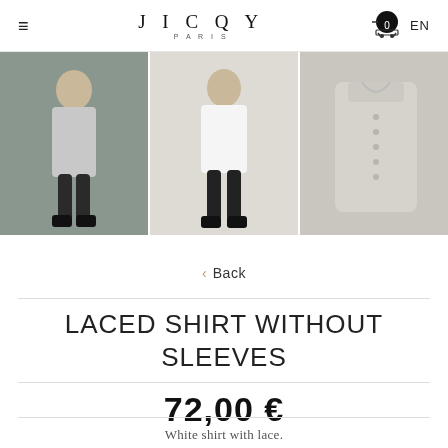JICQY PARIS
[Figure (photo): Three product photos of a sleeveless laced shirt: two showing a model wearing the shirt with dark trousers and loafers, one flat lay of the shirt alone.]
< Back
LACED SHIRT WITHOUT SLEEVES
72,00 €
White shirt with lace.